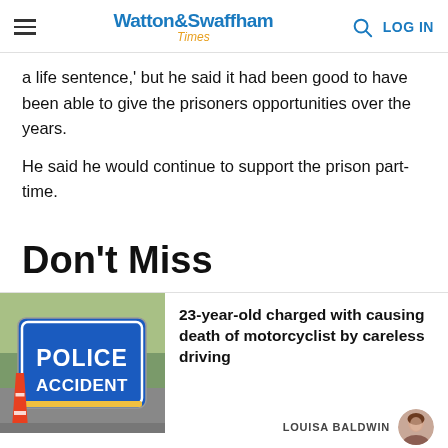Watton & Swaffham Times
a life sentence,' but he said it had been good to have been able to give the prisoners opportunities over the years.
He said he would continue to support the prison part-time.
Don't Miss
[Figure (photo): Blue police accident sign with orange traffic cone in front, outdoors]
23-year-old charged with causing death of motorcyclist by careless driving
LOUISA BALDWIN